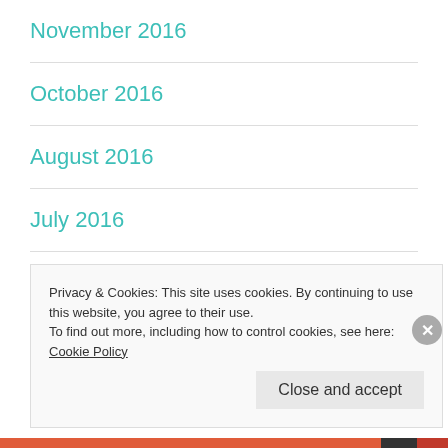November 2016
October 2016
August 2016
July 2016
June 2016
Privacy & Cookies: This site uses cookies. By continuing to use this website, you agree to their use.
To find out more, including how to control cookies, see here: Cookie Policy
Close and accept